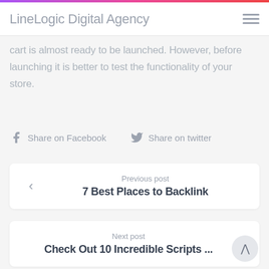LineLineLogic Digital Agency
cart is almost ready to be launched. However, before launching it is better to test the functionality of your store.
Share on Facebook   Share on twitter
Previous post
7 Best Places to Backlink
Next post
Check Out 10 Incredible Scripts ...